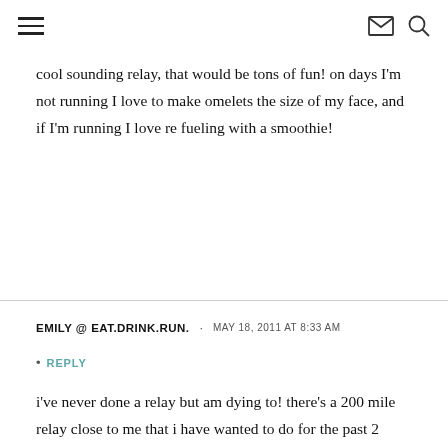≡ [hamburger menu] [mail icon] [search icon]
cool sounding relay, that would be tons of fun! on days I'm not running I love to make omelets the size of my face, and if I'm running I love re fueling with a smoothie!
EMILY @ EAT.DRINK.RUN.  ·  MAY 18, 2011 AT 8:33 AM
REPLY
i've never done a relay but am dying to! there's a 200 mile relay close to me that i have wanted to do for the past 2 years but i haven't found enough crazies